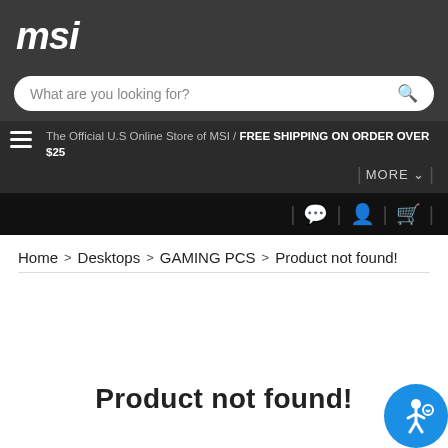msi
What are you looking for?
The Official U.S Online Store of MSI / FREE SHIPPING ON ORDER OVER $25
MORE
Home > Desktops > GAMING PCS > Product not found!
Product not found!